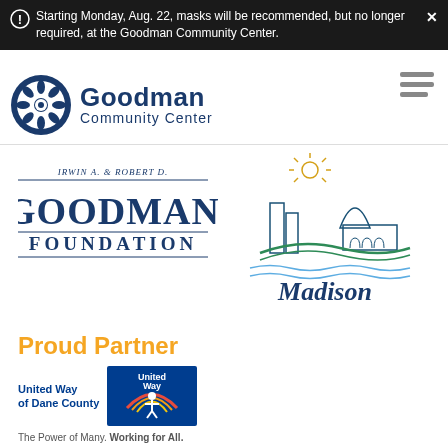Starting Monday, Aug. 22, masks will be recommended, but no longer required, at the Goodman Community Center.
[Figure (logo): Goodman Community Center logo with circular gear/flower emblem and text 'Goodman Community Center']
[Figure (logo): Irwin A. & Robert D. Goodman Foundation logo with serif text]
[Figure (logo): City of Madison logo with capitol building and waterfront illustration, script 'Madison' text]
[Figure (logo): Proud Partner United Way of Dane County logo with badge and tagline 'The Power of Many. Working for All.']